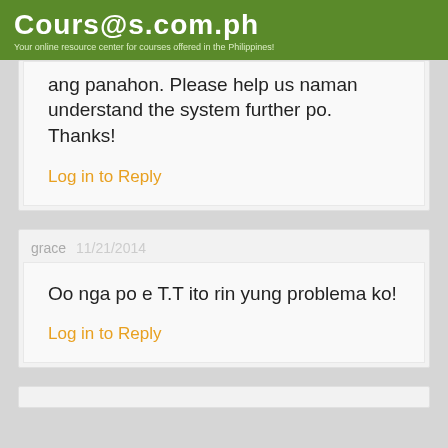Courses.com.ph - Your online resource center for courses offered in the Philippines!
ang panahon. Please help us naman understand the system further po. Thanks!
Log in to Reply
grace  11/21/2014
Oo nga po e T.T ito rin yung problema ko!
Log in to Reply